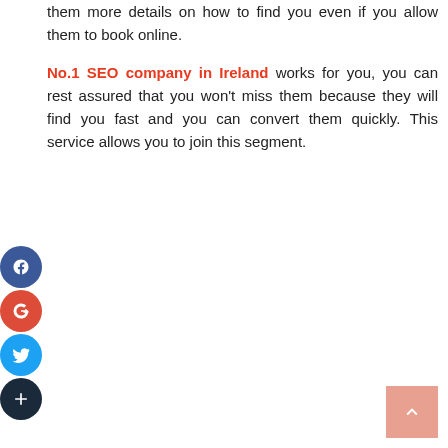them more details on how to find you even if you allow them to book online.
No.1 SEO company in Ireland works for you, you can rest assured that you won't miss them because they will find you fast and you can convert them quickly. This service allows you to join this segment.
[Figure (infographic): Social media share icons on the left side: Facebook (dark blue circle with f), Google+ (red circle with g+), Twitter (light blue circle with bird), Add/share (dark circle with +). Back to top button bottom right (salmon/pink square with up arrow).]